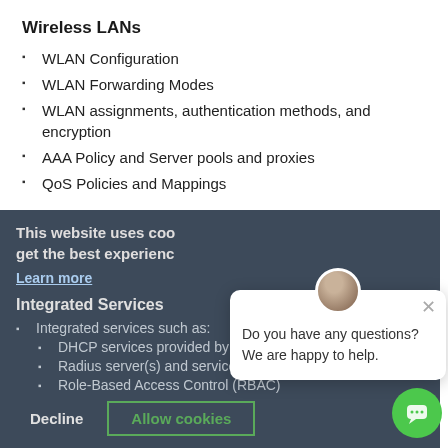Wireless LANs
WLAN Configuration
WLAN Forwarding Modes
WLAN assignments, authentication methods, and encryption
AAA Policy and Server pools and proxies
QoS Policies and Mappings
Advanced WLAN Features
Configuring SMART RF
Using SMART RF statistics to analyse WLAN state and potential issues
WLAN optimization features including Roaming Assist features
Other advanced WLAN features
Integrated Services
Integrated services such as:
DHCP services provided by the controllers and APs
Radius server(s) and services
Role-Based Access Control (RBAC)